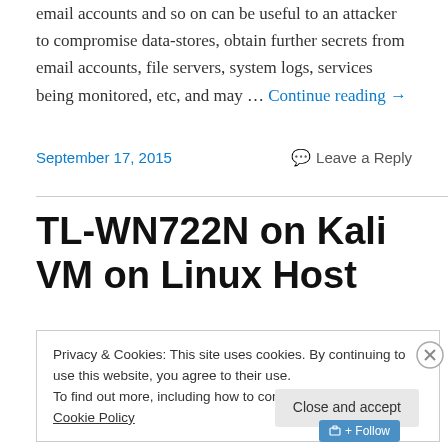email accounts and so on can be useful to an attacker to compromise data-stores, obtain further secrets from email accounts, file servers, system logs, services being monitored, etc, and may … Continue reading →
September 17, 2015
Leave a Reply
TL-WN722N on Kali VM on Linux Host
Privacy & Cookies: This site uses cookies. By continuing to use this website, you agree to their use.
To find out more, including how to control cookies, see here: Cookie Policy
Close and accept